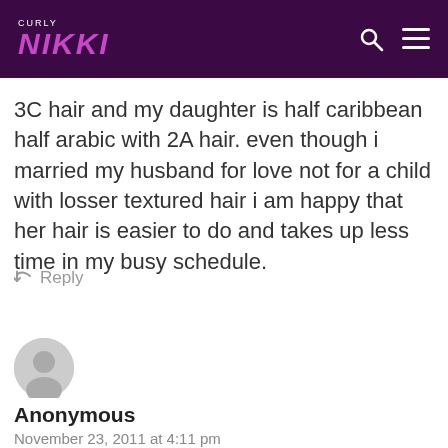CURLY NIKKI
3C hair and my daughter is half caribbean half arabic with 2A hair. even though i married my husband for love not for a child with losser textured hair i am happy that her hair is easier to do and takes up less time in my busy schedule.
↵ Reply
[Figure (illustration): Generic user avatar circle placeholder icon]
Anonymous
November 23, 2011 at 4:11 pm